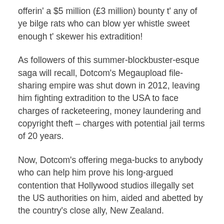offerin' a $5 million (£3 million) bounty t' any of ye bilge rats who can blow yer whistle sweet enough t' skewer his extradition!
As followers of this summer-blockbuster-esque saga will recall, Dotcom's Megaupload file-sharing empire was shut down in 2012, leaving him fighting extradition to the USA to face charges of racketeering, money laundering and copyright theft – charges with potential jail terms of 20 years.
Now, Dotcom's offering mega-bucks to anybody who can help him prove his long-argued contention that Hollywood studios illegally set the US authorities on him, aided and abetted by the country's close ally, New Zealand.